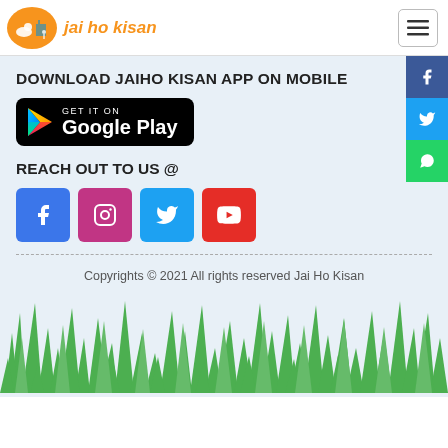[Figure (logo): Jai Ho Kisan logo with orange circular icon and stylized text]
DOWNLOAD JAIHO KISAN APP ON MOBILE
[Figure (screenshot): Google Play Store download badge - black rounded rectangle with Play triangle icon and text GET IT ON Google Play]
REACH OUT TO US @
[Figure (infographic): Four social media icon buttons: Facebook (blue), Instagram (pink/purple), Twitter (blue), YouTube (red)]
Copyrights © 2021 All rights reserved Jai Ho Kisan
[Figure (illustration): Green grass illustration at the bottom of the page]